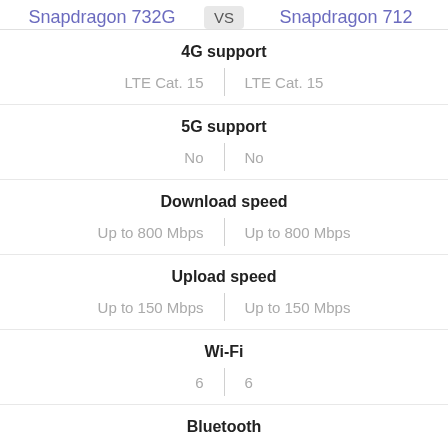Snapdragon 732G vs Snapdragon 712
4G support
LTE Cat. 15 | LTE Cat. 15
5G support
No | No
Download speed
Up to 800 Mbps | Up to 800 Mbps
Upload speed
Up to 150 Mbps | Up to 150 Mbps
Wi-Fi
6 | 6
Bluetooth